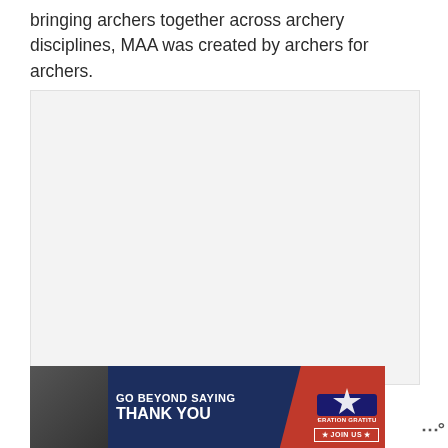bringing archers together across archery disciplines, MAA was created by archers for archers.
[Figure (other): Large light gray placeholder image area occupying the middle of the page]
[Figure (photo): Advertisement banner: GO BEYOND SAYING THANK YOU - Operation Gratitude JOIN US. Shows people in uniform on the left side photo portion.]